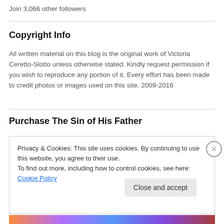Join 3,066 other followers
Copyright Info
All written material on this blog is the original work of Victoria Ceretto-Slotto unless otherwise stated. Kindly request permission if you wish to reproduce any portion of it. Every effort has been made to credit photos or images used on this site. 2009-2016
Purchase The Sin of His Father
Privacy & Cookies: This site uses cookies. By continuing to use this website, you agree to their use.
To find out more, including how to control cookies, see here: Cookie Policy
Close and accept